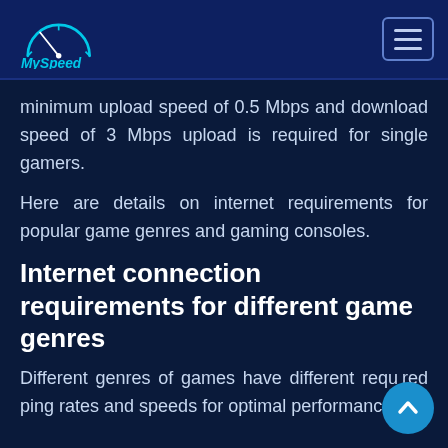MySpeed
minimum upload speed of 0.5 Mbps and download speed of 3 Mbps upload is required for single gamers.
Here are details on internet requirements for popular game genres and gaming consoles.
Internet connection requirements for different game genres
Different genres of games have different requirements for ping rates and speeds for optimal performance.